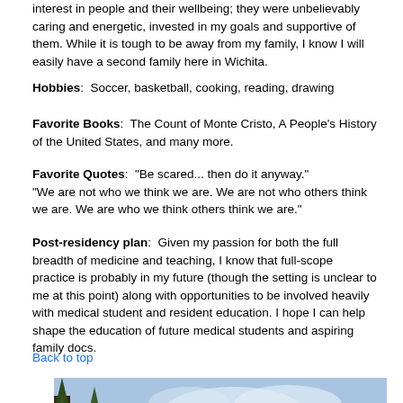interest in people and their wellbeing; they were unbelievably caring and energetic, invested in my goals and supportive of them. While it is tough to be away from my family, I know I will easily have a second family here in Wichita.
Hobbies:  Soccer, basketball, cooking, reading, drawing
Favorite Books:  The Count of Monte Cristo, A People's History of the United States, and many more.
Favorite Quotes:  "Be scared... then do it anyway."
"We are not who we think we are. We are not who others think we are. We are who we think others think we are."
Post-residency plan:  Given my passion for both the full breadth of medicine and teaching, I know that full-scope practice is probably in my future (though the setting is unclear to me at this point) along with opportunities to be involved heavily with medical student and resident education. I hope I can help shape the education of future medical students and aspiring family docs.
Back to top
[Figure (photo): Outdoor photo of two people (a man and a woman) in a natural setting with mountains, trees, and a partly cloudy sky in the background]